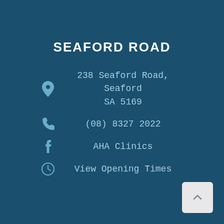SEAFORD ROAD
238 Seaford Road, Seaford SA 5169
(08) 8327 2022
AHA Clinics
View Opening Times